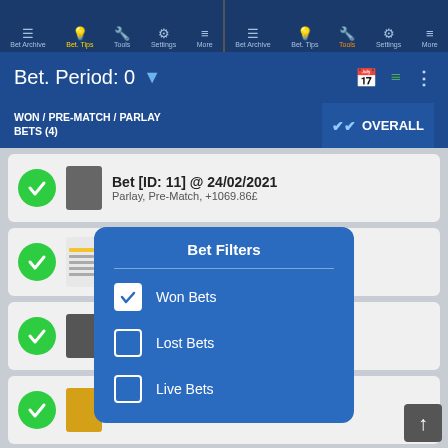[Figure (screenshot): Mobile app screenshot showing two navigation bars at top with Bet Archive, Bet. Tips (active), Tools, Settings, More icons. Main content shows Bet Period: 0 header, WON/PRE-MATCH/PARLAY BETS (4) tab, OVERALL tab, list of bet cards, and a Bet Filters popup overlay with Won Bets (checked), Lost Bets (unchecked), Live Bets (unchecked).]